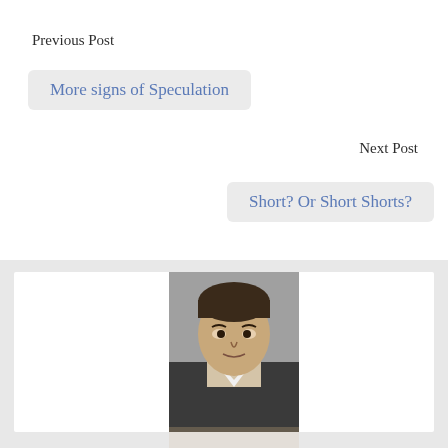Previous Post
More signs of Speculation
Next Post
Short? Or Short Shorts?
[Figure (photo): A man looking upward, partially visible from the shoulders up, with a reflection of the image below.]